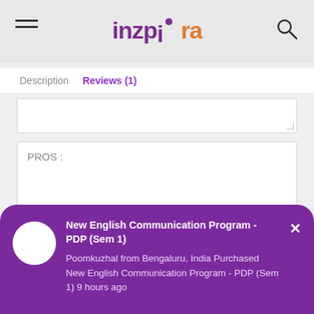inzpira
Description   Reviews (1)
[Figure (screenshot): Empty text input box (top, partially visible)]
PROS :
CONS : (partially visible)
New English Communication Program - PDP (Sem 1)
Poomkuzhal from Bengaluru, India Purchased New English Communication Program - PDP (Sem 1) 9 hours ago